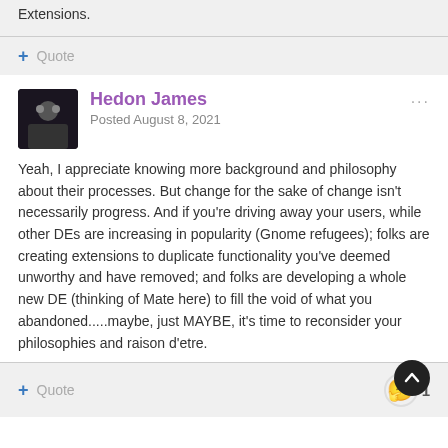Extensions.
+ Quote
Hedon James
Posted August 8, 2021
Yeah, I appreciate knowing more background and philosophy about their processes.  But change for the sake of change isn't necessarily progress.  And if you're driving away your users, while other DEs are increasing in popularity (Gnome refugees); folks are creating extensions to duplicate functionality you've deemed unworthy and have removed; and folks are developing a whole new DE (thinking of Mate here) to fill the void of what you abandoned.....maybe, just MAYBE, it's time to reconsider your philosophies and raison d'etre.
+ Quote
1